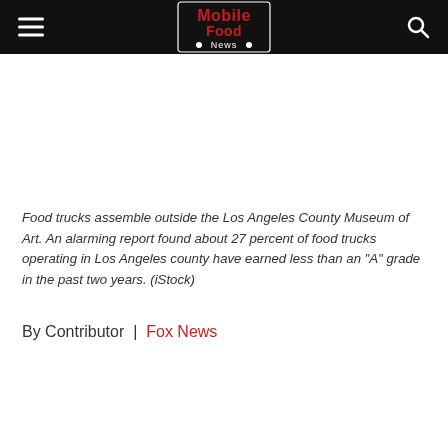Mobile Food News [logo]
Food trucks assemble outside the Los Angeles County Museum of Art. An alarming report found about 27 percent of food trucks operating in Los Angeles county have earned less than an "A" grade in the past two years. (iStock)
By Contributor  |  Fox News